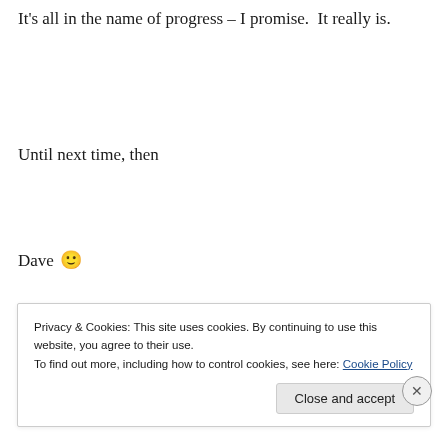It's all in the name of progress – I promise.  It really is.
Until next time, then
Dave 🙂
Privacy & Cookies: This site uses cookies. By continuing to use this website, you agree to their use.
To find out more, including how to control cookies, see here: Cookie Policy

Close and accept